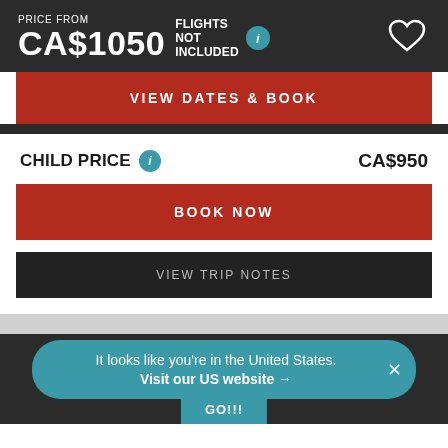PRICE FROM
CA$1050
FLIGHTS NOT INCLUDED
VIEW DATES & BOOK
CHILD PRICE
CA$950
BOOK NOW
VIEW TRIP NOTES
It looks like you're in the United States. Visit our US website →
GO!!!